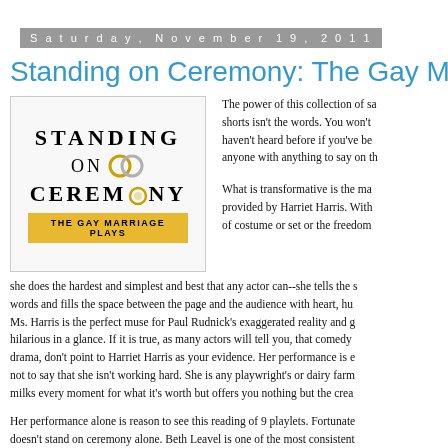Saturday, November 19, 2011
Standing on Ceremony: The Gay Marria…
[Figure (illustration): Book/play cover for 'Standing on Ceremony: The Gay Marriage Plays' — bold serif text with two interlinked gold rings, yellow banner at bottom]
The power of this collection of sa… shorts isn't the words. You won't… haven't heard before if you've be… anyone with anything to say on th…
What is transformative is the ma… provided by Harriet Harris. Withe… of costume or set or the freedom… she does the hardest and simplest and best that any actor can--she tells the s… words and fills the space between the page and the audience with heart, hu… Ms. Harris is the perfect muse for Paul Rudnick's exaggerated reality and g… hilarious in a glance. If it is true, as many actors will tell you, that comedy … drama, don't point to Harriet Harris as your evidence. Her performance is e… not to say that she isn't working hard. She is any playwright's or dairy farm… milks every moment for what it's worth but offers you nothing but the crea…
Her performance alone is reason to see this reading of 9 playlets. Fortunate… doesn't stand on ceremony alone. Beth Leavel is one of the most consistent… in the theatre today, and she is no less terrific here. Richard Thomas, occasi… the effete on top rather than baking it into the performance, is ultimately b…